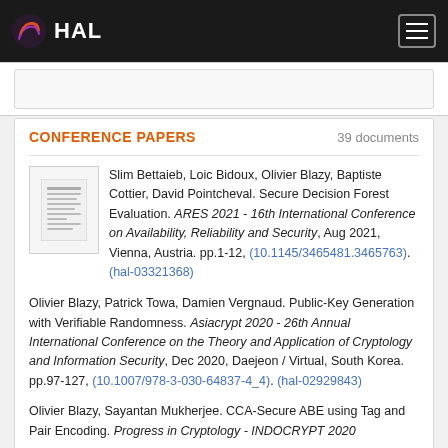HAL
CONFERENCE PAPERS — 39 documents
Slim Bettaieb, Loic Bidoux, Olivier Blazy, Baptiste Cottier, David Pointcheval. Secure Decision Forest Evaluation. ARES 2021 - 16th International Conference on Availability, Reliability and Security, Aug 2021, Vienna, Austria. pp.1-12, (10.1145/3465481.3465763). (hal-03321368)
Olivier Blazy, Patrick Towa, Damien Vergnaud. Public-Key Generation with Verifiable Randomness. Asiacrypt 2020 - 26th Annual International Conference on the Theory and Application of Cryptology and Information Security, Dec 2020, Daejeon / Virtual, South Korea. pp.97-127, (10.1007/978-3-030-64837-4_4). (hal-02929843)
Olivier Blazy, Sayantan Mukherjee. CCA-Secure ABE using Tag and Pair Encoding. Progress in Cryptology - INDOCRYPT 2020